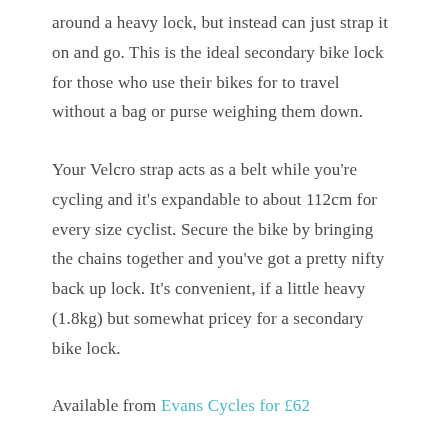around a heavy lock, but instead can just strap it on and go. This is the ideal secondary bike lock for those who use their bikes for to travel without a bag or purse weighing them down.
Your Velcro strap acts as a belt while you're cycling and it's expandable to about 112cm for every size cyclist. Secure the bike by bringing the chains together and you've got a pretty nifty back up lock. It's convenient, if a little heavy (1.8kg) but somewhat pricey for a secondary bike lock.
Available from Evans Cycles for £62